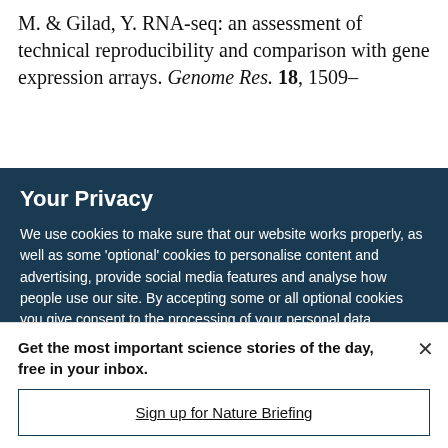M. & Gilad, Y. RNA-seq: an assessment of technical reproducibility and comparison with gene expression arrays. Genome Res. 18, 1509–
Your Privacy
We use cookies to make sure that our website works properly, as well as some 'optional' cookies to personalise content and advertising, provide social media features and analyse how people use our site. By accepting some or all optional cookies you give consent to the processing of your personal data, including transfer to third parties, some in countries outside of the European Economic Area that do not offer the same data protection standards as the country where you live. You can decide which optional cookies to accept by clicking on 'Manage Settings', where you can
Get the most important science stories of the day, free in your inbox.
Sign up for Nature Briefing